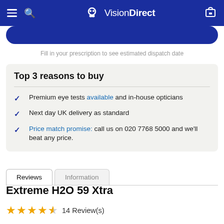VisionDirect
Fill in your prescription to see estimated dispatch date
Top 3 reasons to buy
Premium eye tests available and in-house opticians
Next day UK delivery as standard
Price match promise: call us on 020 7768 5000 and we'll beat any price.
Extreme H2O 59 Xtra
14 Review(s)